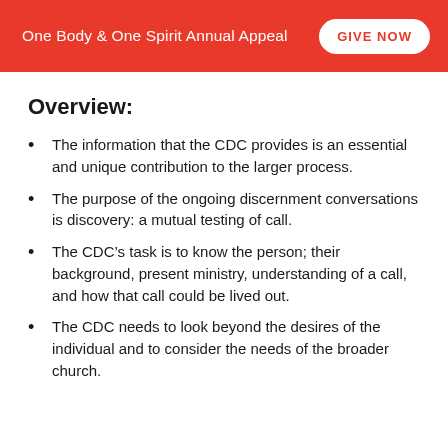One Body & One Spirit Annual Appeal
Overview:
The information that the CDC provides is an essential and unique contribution to the larger process.
The purpose of the ongoing discernment conversations is discovery: a mutual testing of call.
The CDC’s task is to know the person; their background, present ministry, understanding of a call, and how that call could be lived out.
The CDC needs to look beyond the desires of the individual and to consider the needs of the broader church.